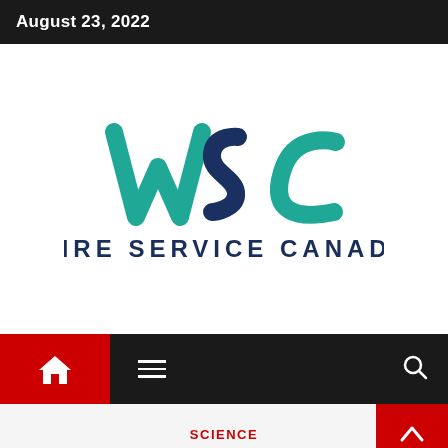August 23, 2022
[Figure (logo): Wire Service Canada (WSC) logo — stylized WSC letters in teal/dark blue with text 'WIRE SERVICE CANADA' below in dark navy bold uppercase]
SCIENCE